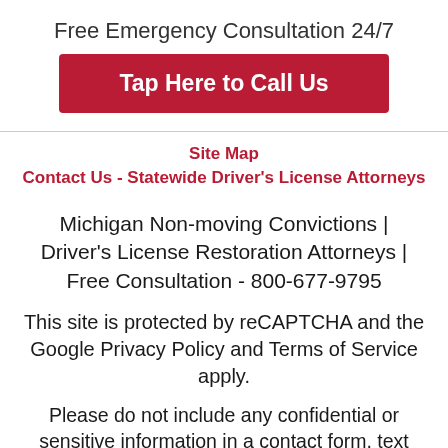Free Emergency Consultation 24/7
Tap Here to Call Us
Site Map
Contact Us - Statewide Driver's License Attorneys
Michigan Non-moving Convictions | Driver's License Restoration Attorneys | Free Consultation - 800-677-9795
This site is protected by reCAPTCHA and the Google Privacy Policy and Terms of Service apply.
Please do not include any confidential or sensitive information in a contact form, text message, or voicemail. The contact form sends information by non-encrypted email, which is not secure.